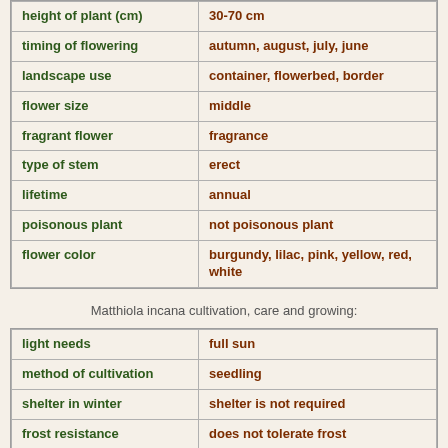| property | value |
| --- | --- |
| height of plant (cm) | 30-70 cm |
| timing of flowering | autumn, august, july, june |
| landscape use | container, flowerbed, border |
| flower size | middle |
| fragrant flower | fragrance |
| type of stem | erect |
| lifetime | annual |
| poisonous plant | not poisonous plant |
| flower color | burgundy, lilac, pink, yellow, red, white |
Matthiola incana cultivation, care and growing:
| property | value |
| --- | --- |
| light needs | full sun |
| method of cultivation | seedling |
| shelter in winter | shelter is not required |
| frost resistance | does not tolerate frost |
| water needs | moderate, high |